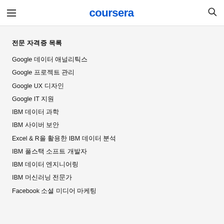coursera
전문 자격증 목록
Google 데이터 애널리틱스
Google 프로젝트 관리
Google UX 디자인
Google IT 지원
IBM 데이터 과학
IBM 사이버 보안
Excel & R을 활용한 IBM 데이터 분석
IBM 풀스택 소프트 개발자
IBM 데이터 엔지니어링
IBM 머신러닝 전문가
Facebook 소셜 미디어 마케팅